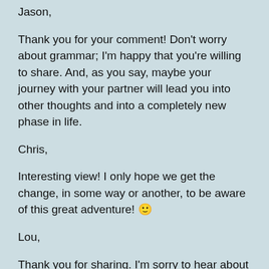Jason,
Thank you for your comment! Don't worry about grammar; I'm happy that you're willing to share. And, as you say, maybe your journey with your partner will lead you into other thoughts and into a completely new phase in life.
Chris,
Interesting view! I only hope we get the change, in some way or another, to be aware of this great adventure! 🙂
Lou,
Thank you for sharing. I'm sorry to hear about your diagnosises, but I definitely think it was a good move to talk to your father. Being a parent myself, and from looking at my parents, I know (most) parents go through any length to help and support their children.